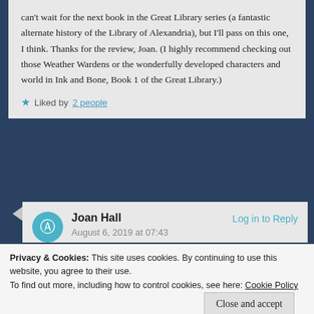can't wait for the next book in the Great Library series (a fantastic alternate history of the Library of Alexandria), but I'll pass on this one, I think. Thanks for the review, Joan. (I highly recommend checking out those Weather Wardens or the wonderfully developed characters and world in Ink and Bone, Book 1 of the Great Library.)
★ Liked by 2 people
Joan Hall
August 6, 2019 at 07:43
Log in to Reply
Privacy & Cookies: This site uses cookies. By continuing to use this website, you agree to their use.
To find out more, including how to control cookies, see here: Cookie Policy
Close and accept
growing roll…